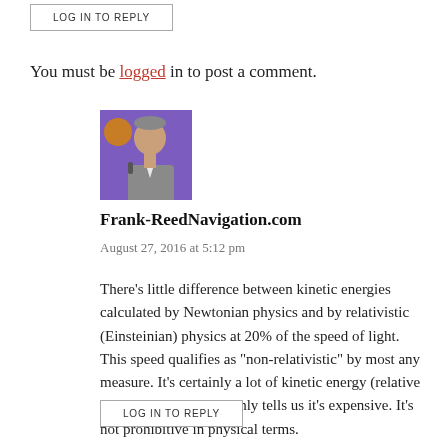LOG IN TO REPLY
You must be logged in to post a comment.
[Figure (photo): Avatar photo of a man speaking, wearing a grey blazer, purple background]
Frank-ReedNavigation.com
August 27, 2016 at 5:12 pm
There's little difference between kinetic energies calculated by Newtonian physics and by relativistic (Einsteinian) physics at 20% of the speed of light. This speed qualifies as "non-relativistic" by most any measure. It's certainly a lot of kinetic energy (relative to the Earth), but that only tells us it's expensive. It's not prohibitive in physical terms.
LOG IN TO REPLY